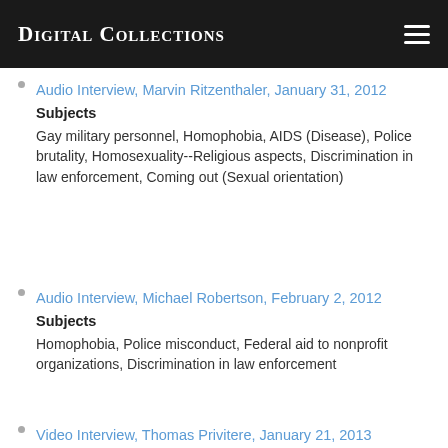Digital Collections
Audio Interview, Marvin Ritzenthaler, January 31, 2012
Subjects
Gay military personnel, Homophobia, AIDS (Disease), Police brutality, Homosexuality--Religious aspects, Discrimination in law enforcement, Coming out (Sexual orientation)
Audio Interview, Michael Robertson, February 2, 2012
Subjects
Homophobia, Police misconduct, Federal aid to nonprofit organizations, Discrimination in law enforcement
Video Interview, Thomas Privitere, January 21, 2013
Subjects